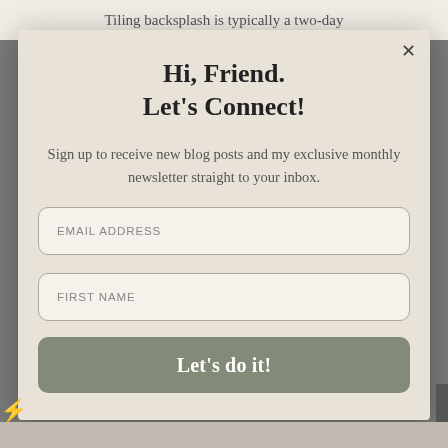Tiling backsplash is typically a two-day
Hi, Friend.
Let's Connect!
Sign up to receive new blog posts and my exclusive monthly newsletter straight to your inbox.
EMAIL ADDRESS
FIRST NAME
Let's do it!